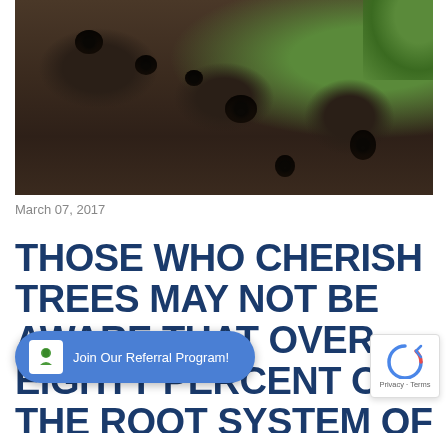[Figure (photo): Close-up photograph of dark soil with multiple aeration holes punched into it, with some grass visible in the upper right corner]
March 07, 2017
THOSE WHO CHERISH TREES MAY NOT BE AWARE THAT OVER EIGHTY PERCENT OF THE ROOT SYSTEM OF A TREE OCCUPIES A SPACE WITHIN ONE FOOT BELOW THE SURFACE OF THE SOI...